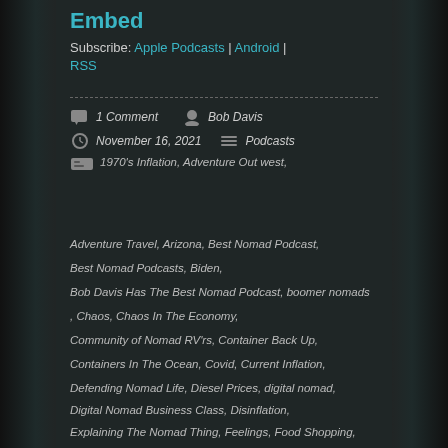Embed
Subscribe: Apple Podcasts | Android | RSS
1 Comment
Bob Davis
November 16, 2021
Podcasts
1970's Inflation, Adventure Out west, Adventure Travel, Arizona, Best Nomad Podcast, Best Nomad Podcasts, Biden, Bob Davis Has The Best Nomad Podcast, boomer nomads , Chaos, Chaos In The Economy, Community of Nomad RV'rs, Container Back Up, Containers In The Ocean, Covid, Current Inflation, Defending Nomad Life, Diesel Prices, digital nomad, Digital Nomad Business Class, Disinflation, Explaining The Nomad Thing, Feelings, Food Shopping, Full Gonzo Nomad, Going Full Gonzo Nomad, Going Nomad, Good For The Nomad Soul, Higher Prices And The Nomad, Higher Prices For Everyone